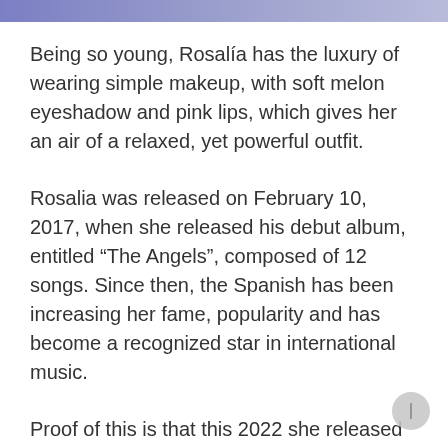Being so young, Rosalía has the luxury of wearing simple makeup, with soft melon eyeshadow and pink lips, which gives her an air of a relaxed, yet powerful outfit.
Rosalia was released on February 10, 2017, when she released his debut album, entitled “The Angels”, composed of 12 songs. Since then, the Spanish has been increasing her fame, popularity and has become a recognized star in international music.
Proof of this is that this 2022 she released her third musical album, which he titled: Motomami. This album